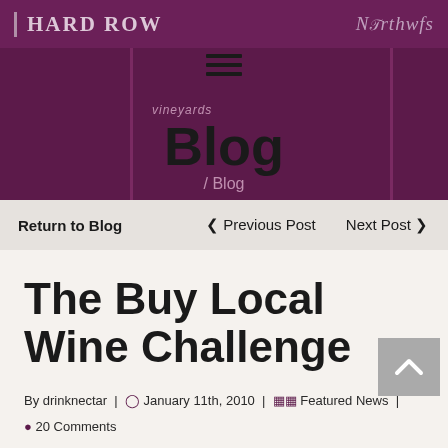HARD ROW | NGRTHWFS
Blog
/ Blog
Return to Blog   < Previous Post   Next Post >
The Buy Local Wine Challenge
By drinknectar | January 11th, 2010 | Featured News | 20 Comments